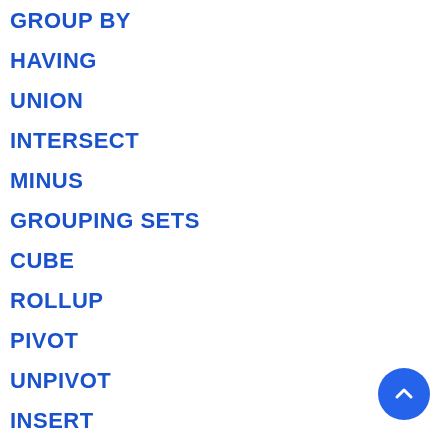GROUP BY
HAVING
UNION
INTERSECT
MINUS
GROUPING SETS
CUBE
ROLLUP
PIVOT
UNPIVOT
INSERT